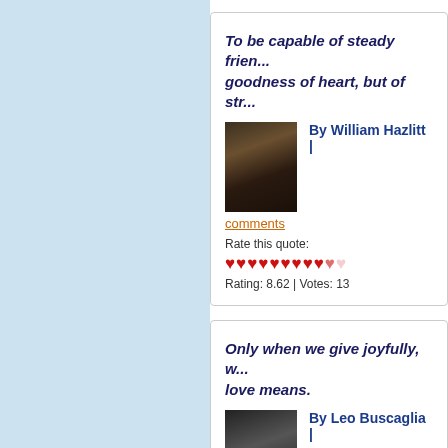To be capable of steady friendship or lasting love, are the two greatest proofs, not only of goodness of heart, but of strength of mind.
By William Hazlitt |
comments
Rate this quote:
Rating: 8.62 | Votes: 13
Only when we give joyfully, without hesitation or thought of gain, can we truly know what love means.
By Leo Buscaglia |